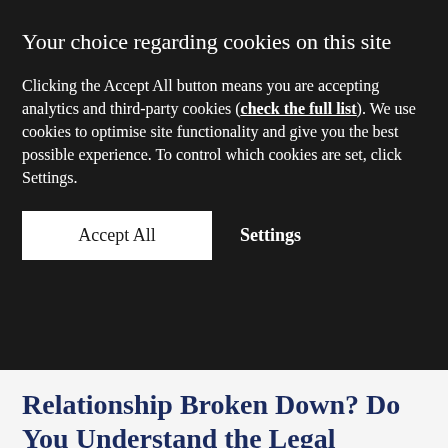Your choice regarding cookies on this site
Clicking the Accept All button means you are accepting analytics and third-party cookies (check the full list). We use cookies to optimise site functionality and give you the best possible experience. To control which cookies are set, click Settings.
Accept All
Settings
Relationship Broken Down? Do You Understand the Legal